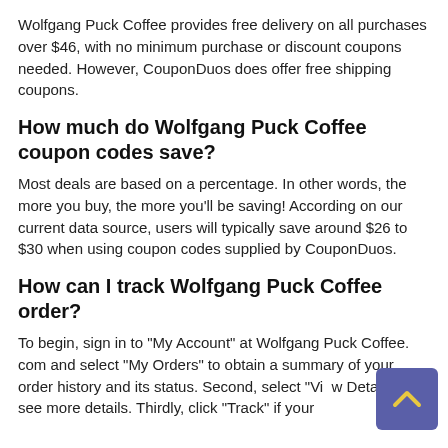Wolfgang Puck Coffee provides free delivery on all purchases over $46, with no minimum purchase or discount coupons needed. However, CouponDuos does offer free shipping coupons.
How much do Wolfgang Puck Coffee coupon codes save?
Most deals are based on a percentage. In other words, the more you buy, the more you'll be saving! According on our current data source, users will typically save around $26 to $30 when using coupon codes supplied by CouponDuos.
How can I track Wolfgang Puck Coffee order?
To begin, sign in to "My Account" at Wolfgang Puck Coffee. com and select "My Orders" to obtain a summary of your order history and its status. Second, select "View Details" to see more details. Thirdly, click "Track" if your